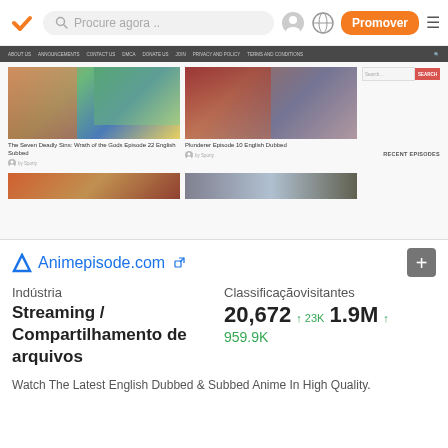Procure agora ..   Promover
[Figure (screenshot): Screenshot of Animepisode.com showing anime thumbnails including 'The Seven Deadly Sins: Wrath of the Gods Episode 22 English Subbed' and 'Plunderer Episode 10 English Dubbed', with site navigation bar, search box, and Recent Episodes section]
Animepisode.com
Indústria
Streaming / Compartilhamento de arquivos
Classificaçãovisitantes
20,672 ↑23K  1.9M ↑ 959.9K
Watch The Latest English Dubbed & Subbed Anime In High Quality.